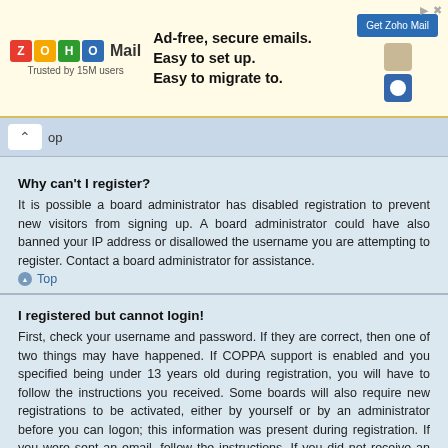[Figure (screenshot): Zoho Mail advertisement banner with logo, tagline 'Ad-free, secure emails. Easy to set up. Easy to migrate to.' and a 'Get Zoho Mail' button]
Why can't I register?
It is possible a board administrator has disabled registration to prevent new visitors from signing up. A board administrator could have also banned your IP address or disallowed the username you are attempting to register. Contact a board administrator for assistance.
Top
I registered but cannot login!
First, check your username and password. If they are correct, then one of two things may have happened. If COPPA support is enabled and you specified being under 13 years old during registration, you will have to follow the instructions you received. Some boards will also require new registrations to be activated, either by yourself or by an administrator before you can logon; this information was present during registration. If you were sent an email, follow the instructions. If you did not receive an email, you may have provided an incorrect email address or the email may have been picked up by a spam filer. If you are sure the email address you provided is correct, try contacting an administrator.